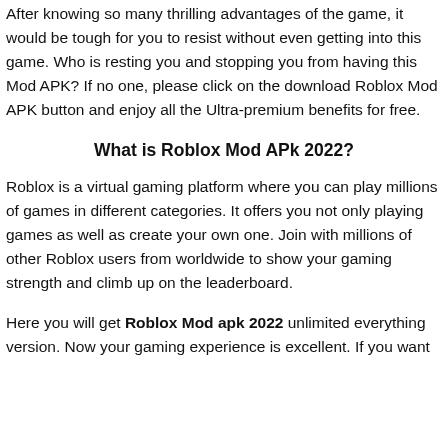After knowing so many thrilling advantages of the game, it would be tough for you to resist without even getting into this game. Who is resting you and stopping you from having this Mod APK? If no one, please click on the download Roblox Mod APK button and enjoy all the Ultra-premium benefits for free.
What is Roblox Mod APk 2022?
Roblox is a virtual gaming platform where you can play millions of games in different categories. It offers you not only playing games as well as create your own one. Join with millions of other Roblox users from worldwide to show your gaming strength and climb up on the leaderboard.
Here you will get Roblox Mod apk 2022 unlimited everything version. Now your gaming experience is excellent. If you want